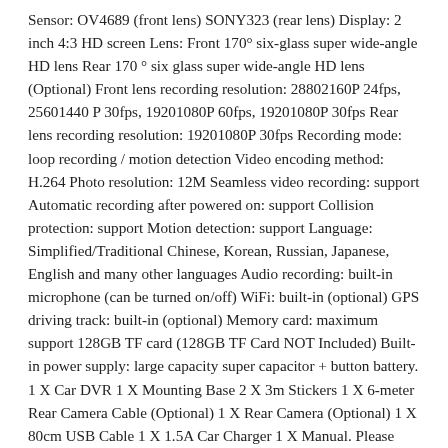Sensor: OV4689 (front lens) SONY323 (rear lens) Display: 2 inch 4:3 HD screen Lens: Front 170° six-glass super wide-angle HD lens Rear 170 ° six glass super wide-angle HD lens (Optional) Front lens recording resolution: 28802160P 24fps, 25601440 P 30fps, 19201080P 60fps, 19201080P 30fps Rear lens recording resolution: 19201080P 30fps Recording mode: loop recording / motion detection Video encoding method: H.264 Photo resolution: 12M Seamless video recording: support Automatic recording after powered on: support Collision protection: support Motion detection: support Language: Simplified/Traditional Chinese, Korean, Russian, Japanese, English and many other languages Audio recording: built-in microphone (can be turned on/off) WiFi: built-in (optional) GPS driving track: built-in (optional) Memory card: maximum support 128GB TF card (128GB TF Card NOT Included) Built-in power supply: large capacity super capacitor + button battery. 1 X Car DVR 1 X Mounting Base 2 X 3m Stickers 1 X 6-meter Rear Camera Cable (Optional) 1 X Rear Camera (Optional) 1 X 80cm USB Cable 1 X 1.5A Car Charger 1 X Manual. Please contact me before you return it. If item is defective after 3 months, you can still send it back to us. We will send you a new one after receiving the defective item. NO